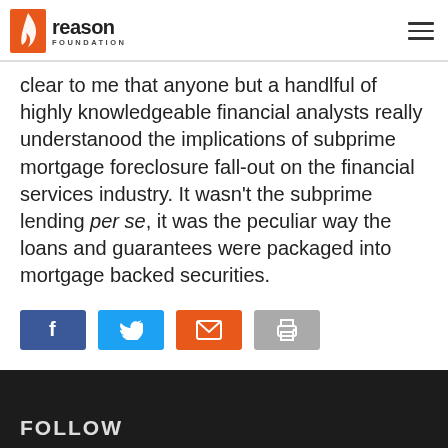Reason Foundation
clear to me that anyone but a handlful of highly knowledgeable financial analysts really understanood the implications of subprime mortgage foreclosure fall-out on the financial services industry. It wasn't the subprime lending per se, it was the peculiar way the loans and guarantees were packaged into mortgage backed securities.
[Figure (infographic): Social sharing buttons: Facebook (blue), Twitter (cyan), Email (orange), Print (gray)]
FOLLOW